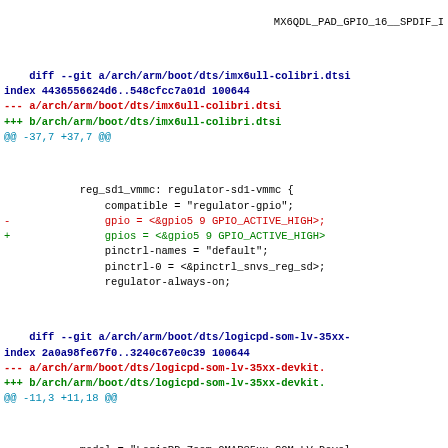MX6QDL_PAD_GPIO_16__SPDIF_I
diff --git a/arch/arm/boot/dts/imx6ull-colibri.dtsi
index 4436556624d6..548cfcc7a01d 100644
--- a/arch/arm/boot/dts/imx6ull-colibri.dtsi
+++ b/arch/arm/boot/dts/imx6ull-colibri.dtsi
@@ -37,7 +37,7 @@
reg_sd1_vmmc: regulator-sd1-vmmc {
        compatible = "regulator-gpio";
-               gpio = <&gpio5 9 GPIO_ACTIVE_HIGH>;
+               gpios = <&gpio5 9 GPIO_ACTIVE_HIGH>
        pinctrl-names = "default";
        pinctrl-0 = <&pinctrl_snvs_reg_sd>;
        regulator-always-on;
diff --git a/arch/arm/boot/dts/logicpd-som-lv-35xx-
index 2a0a98fe67f0..3240c67e0c39 100644
--- a/arch/arm/boot/dts/logicpd-som-lv-35xx-devkit.
+++ b/arch/arm/boot/dts/logicpd-som-lv-35xx-devkit.
@@ -11,3 +11,18 @@
model = "LogicPD Zoom OMAP35xx SOM-LV Devel
        compatible = "logicpd,dm3730-som-lv-devkit"
  };
+
+&omap3_pmx_core2 {
+       pinctrl-names = "default";
+       pinctrl-0 = <&hsusb2_2_pins>;
+       hsusb2_2_pins: pinmux_hsusb2_2_pins {
+               pinctrl-single,pins = <